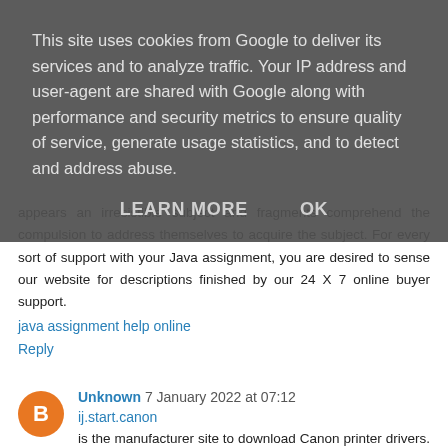This site uses cookies from Google to deliver its services and to analyze traffic. Your IP address and user-agent are shared with Google along with performance and security metrics to ensure quality of service, generate usage statistics, and to detect and address abuse.
LEARN MORE   OK
appears an irresistible subject and fragments comprehend the compulsion to address themselves to acquire the subject. For every sort of support with your Java assignment, you are desired to sense our website for descriptions finished by our 24 X 7 online buyer support.
java assignment help online
Reply
Unknown 7 January 2022 at 07:12
ij.start.canon
is the manufacturer site to download Canon printer drivers. Install and set up Canon Printer from https: //ij.start.canon and obtain high-quality printing documents